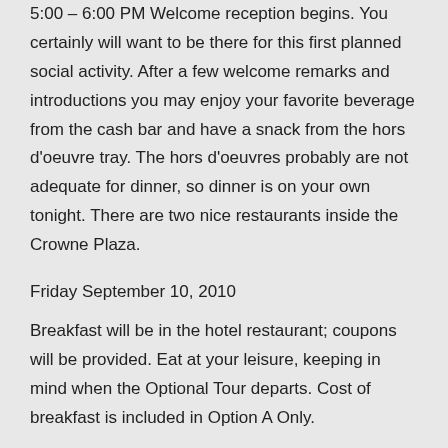5:00 – 6:00 PM Welcome reception begins. You certainly will want to be there for this first planned social activity. After a few welcome remarks and introductions you may enjoy your favorite beverage from the cash bar and have a snack from the hors d'oeuvre tray. The hors d'oeuvres probably are not adequate for dinner, so dinner is on your own tonight. There are two nice restaurants inside the Crowne Plaza.
Friday September 10, 2010
Breakfast will be in the hotel restaurant; coupons will be provided. Eat at your leisure, keeping in mind when the Optional Tour departs. Cost of breakfast is included in Option A Only.